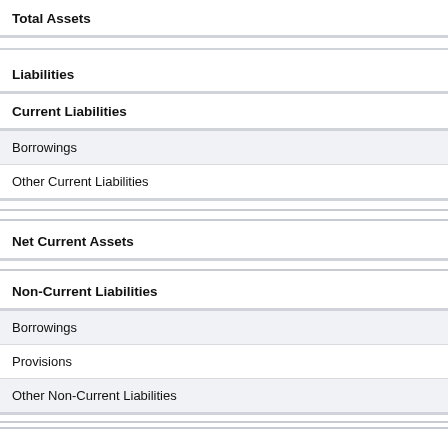Total Assets
Liabilities
Current Liabilities
Borrowings
Other Current Liabilities
Net Current Assets
Non-Current Liabilities
Borrowings
Provisions
Other Non-Current Liabilities